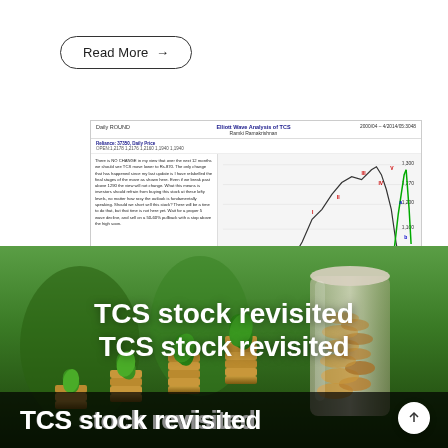Read More →
[Figure (screenshot): Stock chart analysis screenshot showing TCS stock technical analysis by Ramki Ramakrishnan, with candlestick/line chart and analyst commentary text panel on the left.]
[Figure (photo): Background photo of growing plants in stacks of coins with a jar of coins, representing financial growth.]
TCS stock revisited
TCS stock revisited